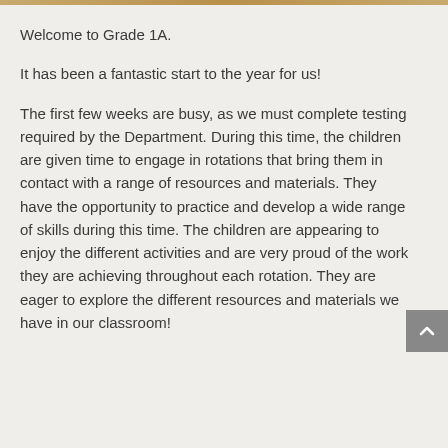Welcome to Grade 1A.
It has been a fantastic start to the year for us!
The first few weeks are busy, as we must complete testing required by the Department. During this time, the children are given time to engage in rotations that bring them in contact with a range of resources and materials. They have the opportunity to practice and develop a wide range of skills during this time. The children are appearing to enjoy the different activities and are very proud of the work they are achieving throughout each rotation. They are eager to explore the different resources and materials we have in our classroom!